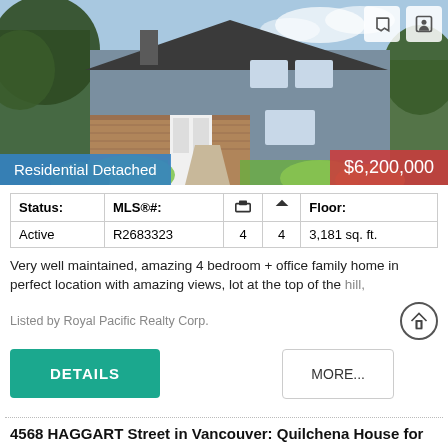[Figure (photo): Exterior photo of a residential detached house with grey siding and brick, blue sky, trees in foreground]
Residential Detached
$6,200,000
| Status: | MLS®#: | 🛏 | 🛁 | Floor: |
| --- | --- | --- | --- | --- |
| Active | R2683323 | 4 | 4 | 3,181 sq. ft. |
Very well maintained, amazing 4 bedroom + office family home in perfect location with amazing views, lot at the top of the hill,
Listed by Royal Pacific Realty Corp.
DETAILS
MORE...
4568 HAGGART Street in Vancouver: Quilchena House for sale (Vancouver West) : MLS®# R2715032